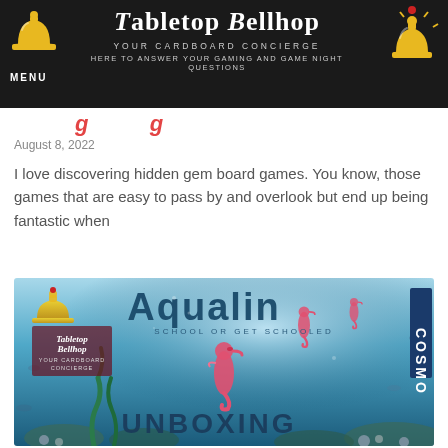Tabletop Bellhop — Your Cardboard Concierge. Here to answer your gaming and game night questions. MENU
[partial title cut off — red italic text]
August 8, 2022
I love discovering hidden gem board games. You know, those games that are easy to pass by and overlook but end up being fantastic when
[Figure (photo): Aqualin board game unboxing promotional image with underwater theme, seahorses, text 'Aqualin SCHOOL OR GET SCHOOLED UNBOXING COSMOS', Tabletop Bellhop logo overlay]